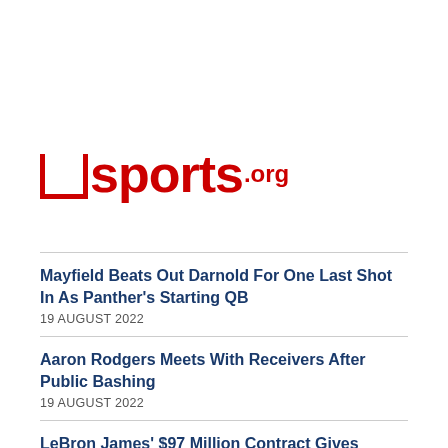[Figure (logo): usports.org logo in red with stylized U bracket and red text]
Mayfield Beats Out Darnold For One Last Shot In As Panther's Starting QB
19 AUGUST 2022
Aaron Rodgers Meets With Receivers After Public Bashing
19 AUGUST 2022
LeBron James' $97 Million Contract Gives Lakers A Familiar Problem
18 AUGUST 2022